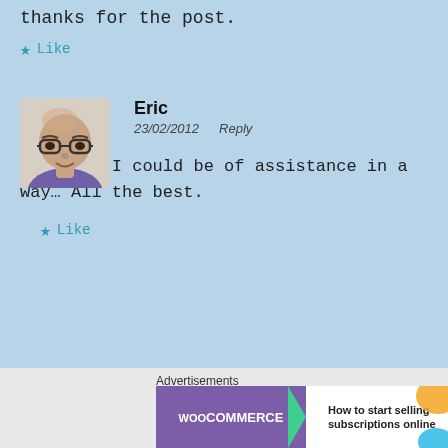thanks for the post.
★ Like
Eric
23/02/2012  Reply
I'm glad I could be of assistance in a way… All the best.
★ Like
[Figure (other): Advertisement banner: WooCommerce - How to start selling subscriptions online]